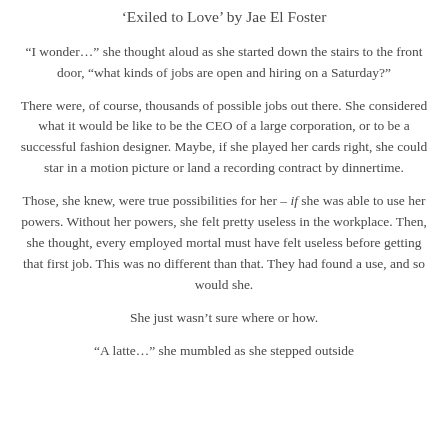'Exiled to Love' by Jae El Foster
“I wonder…” she thought aloud as she started down the stairs to the front door, “what kinds of jobs are open and hiring on a Saturday?”
There were, of course, thousands of possible jobs out there. She considered what it would be like to be the CEO of a large corporation, or to be a successful fashion designer. Maybe, if she played her cards right, she could star in a motion picture or land a recording contract by dinnertime.
Those, she knew, were true possibilities for her – if she was able to use her powers. Without her powers, she felt pretty useless in the workplace. Then, she thought, every employed mortal must have felt useless before getting that first job. This was no different than that. They had found a use, and so would she.
She just wasn’t sure where or how.
“A latte…” she mumbled as she stepped outside